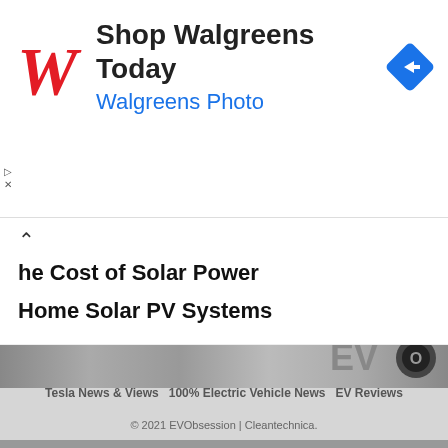[Figure (screenshot): Walgreens advertisement banner with red cursive W logo, text 'Shop Walgreens Today' and 'Walgreens Photo' in blue, and a blue diamond directional arrow icon on the right]
The Cost of Solar Power
Home Solar PV Systems
[Figure (screenshot): Gray page footer area with Facebook and Twitter circle icon buttons, EVO Obsession logo (green leaf O), navigation links: Tesla News & Views, 100% Electric Vehicle News, EV Reviews, and copyright line: © 2021 EVObsession | Cleantechnica.]
© 2021 EVObsession | Cleantechnica.